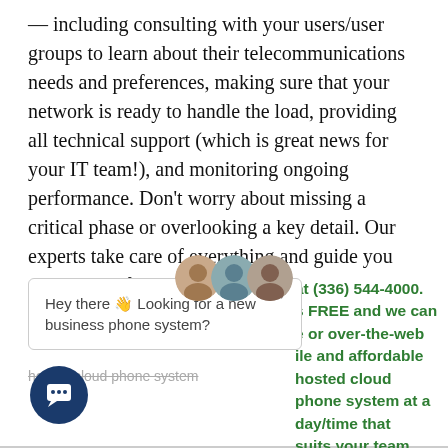— including consulting with your users/user groups to learn about their telecommunications needs and preferences, making sure that your network is ready to handle the load, providing all technical support (which is great news for your IT team!), and monitoring ongoing performance. Don't worry about missing a critical phase or overlooking a key detail. Our experts take care of everything and guide you every step of the way.
[Figure (photo): Three overlapping circular avatar photos of people]
Hey there 👋 Looking for a new business phone system?
at (336) 544-4000. s FREE and we can e or over-the-web ile and affordable hosted cloud phone system at a day/time that suits your team.